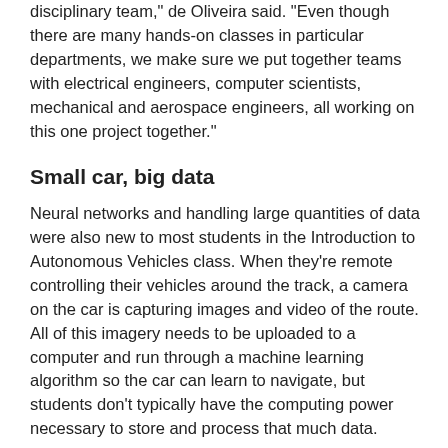disciplinary team," de Oliveira said. "Even though there are many hands-on classes in particular departments, we make sure we put together teams with electrical engineers, computer scientists, mechanical and aerospace engineers, all working on this one project together."
Small car, big data
Neural networks and handling large quantities of data were also new to most students in the Introduction to Autonomous Vehicles class. When they're remote controlling their vehicles around the track, a camera on the car is capturing images and video of the route. All of this imagery needs to be uploaded to a computer and run through a machine learning algorithm so the car can learn to navigate, but students don't typically have the computing power necessary to store and process that much data.
Enter a collaborative effort between IT Services, the San Diego Supercomputer Center, and the Qualcomm Institute. Thanks to the Data Science Machine Learning Platform—utilizing a Qualcomm Institute design, hosted at the Supercomputer Center and run by UC San Diego's Information Technology Services—the students are able